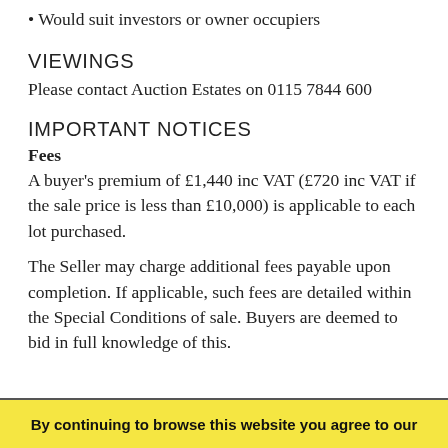• Would suit investors or owner occupiers
VIEWINGS
Please contact Auction Estates on 0115 7844 600
IMPORTANT NOTICES
Fees
A buyer's premium of £1,440 inc VAT (£720 inc VAT if the sale price is less than £10,000) is applicable to each lot purchased.
The Seller may charge additional fees payable upon completion. If applicable, such fees are detailed within the Special Conditions of sale. Buyers are deemed to bid in full knowledge of this.
By continuing to browse this website you agree to our